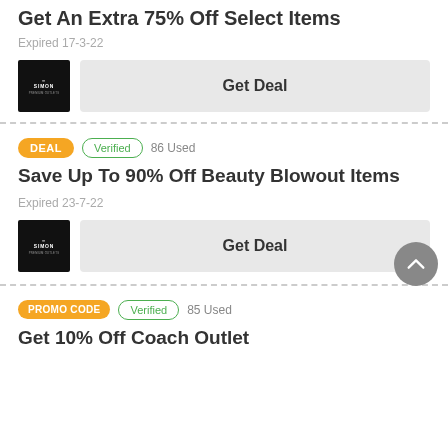Get An Extra 75% Off Select Items
Expired 17-3-22
Get Deal
DEAL · Verified · 86 Used
Save Up To 90% Off Beauty Blowout Items
Expired 23-7-22
Get Deal
PROMO CODE · Verified · 85 Used
Get 10% Off Coach Outlet